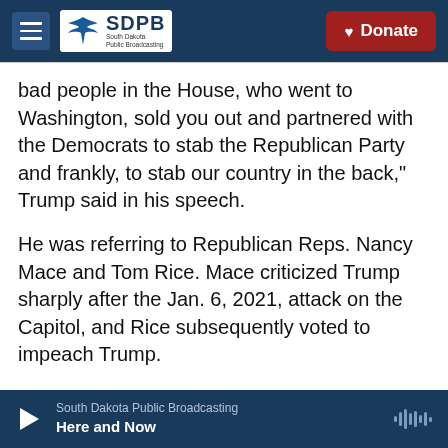SDPB South Dakota Public Broadcasting | Donate
bad people in the House, who went to Washington, sold you out and partnered with the Democrats to stab the Republican Party and frankly, to stab our country in the back," Trump said in his speech.
He was referring to Republican Reps. Nancy Mace and Tom Rice. Mace criticized Trump sharply after the Jan. 6, 2021, attack on the Capitol, and Rice subsequently voted to impeach Trump.
In response, Trump is supporting their Republican primary challengers, and the rally was an opportunity to give them high-profile guest-
South Dakota Public Broadcasting | Here and Now